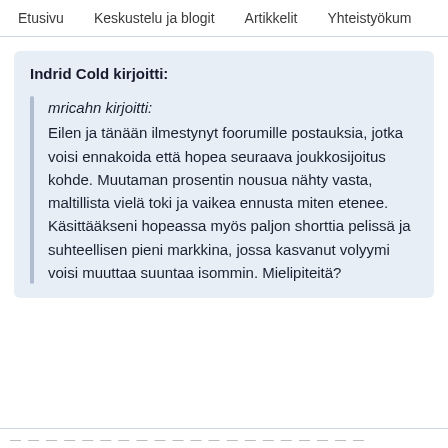Etusivu   Keskustelu ja blogit   Artikkelit   Yhteistyökum
Indrid Cold kirjoitti:
mricahn kirjoitti:
Eilen ja tänään ilmestynyt foorumille postauksia, jotka voisi ennakoida että hopea seuraava joukkosijoitus kohde. Muutaman prosentin nousua nähty vasta, maltillista vielä toki ja vaikea ennusta miten etenee. Käsittääkseni hopeassa myös paljon shorttia pelissä ja suhteellisen pieni markkina, jossa kasvanut volyymi voisi muuttaa suuntaa isommin. Mielipiteitä?